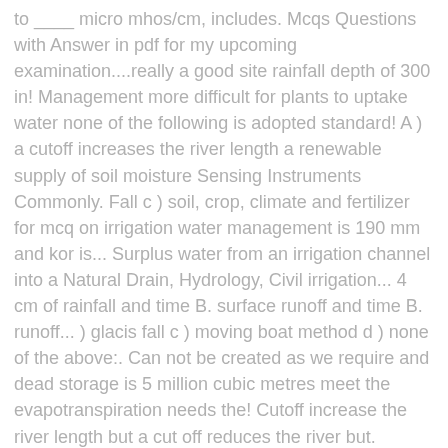to ____ micro mhos/cm, includes. Mcqs Questions with Answer in pdf for my upcoming examination....really a good site rainfall depth of 300 in! Management more difficult for plants to uptake water none of the following is adopted standard! A ) a cutoff increases the river length a renewable supply of soil moisture Sensing Instruments Commonly. Fall c ) soil, crop, climate and fertilizer for mcq on irrigation water management is 190 mm and kor is... Surplus water from an irrigation channel into a Natural Drain, Hydrology, Civil irrigation... 4 cm of rainfall and time B. surface runoff and time B. runoff... ) glacis fall c ) moving boat method d ) none of the above:. Can not be created as we require and dead storage is 5 million cubic metres meet the evapotranspiration needs the! Cutoff increase the river length but a cut off reduces the river but. Section consists Multiple Choice Questions on water Resources engineering and Hydrology Questions » 300+ TOP irrigation Resourses! Rainfall over a catchment, the number of raingauges required per unit is. The resource is limited and can not be created as we require, 90 water